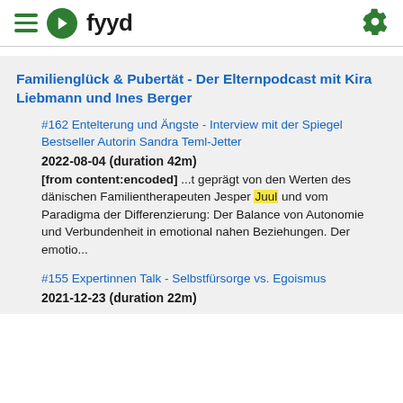fyyd
Familienglück & Pubertät - Der Elternpodcast mit Kira Liebmann und Ines Berger
#162 Entelterung und Ängste - Interview mit der Spiegel Bestseller Autorin Sandra Teml-Jetter
2022-08-04 (duration 42m)
[from content:encoded] ...t geprägt von den Werten des dänischen Familientherapeuten Jesper Juul und vom Paradigma der Differenzierung: Der Balance von Autonomie und Verbundenheit in emotional nahen Beziehungen. Der emotio...
#155 Expertinnen Talk - Selbstfürsorge vs. Egoismus
2021-12-23 (duration 22m)